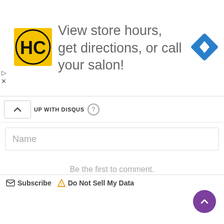[Figure (screenshot): Advertisement banner with HC logo (yellow background, black text), text 'View store hours, get directions, or call your salon!', and a blue navigation diamond icon on the right. Small play and close controls on the left edge.]
UP WITH DISQUS ?
Name
Be the first to comment.
Subscribe  Do Not Sell My Data